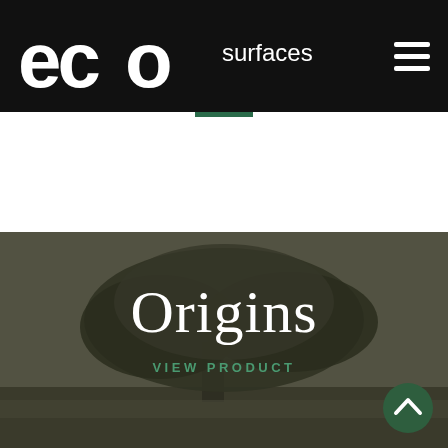eco surfaces
Origins
VIEW PRODUCT
[Figure (illustration): Dark-toned landscape photograph showing a large spreading tree against a muted sky, used as background for the Origins product section of the EcoSurfaces website.]